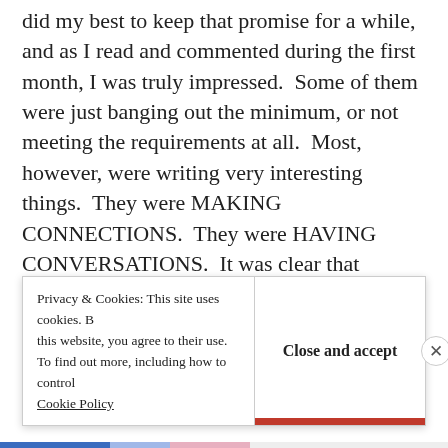did my best to keep that promise for a while, and as I read and commented during the first month, I was truly impressed.  Some of them were just banging out the minimum, or not meeting the requirements at all.  Most, however, were writing very interesting things.  They were MAKING CONNECTIONS.  They were HAVING CONVERSATIONS.  It was clear that writing about the seven character qualities that children need to succeed, or the “licking and grooming” theory of parental nurturing, and applying these concepts to other things both fictional and personal was
Privacy & Cookies: This site uses cookies. By continuing to use this website, you agree to their use. To find out more, including how to control cookies, see here: Cookie Policy
Close and accept